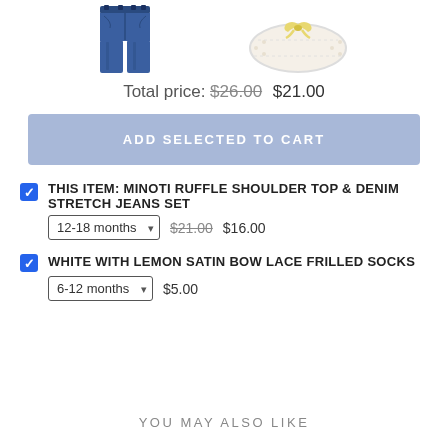[Figure (photo): Two product images: denim jeans on the left and white lace frilled socks with lemon bow on the right]
Total price: $26.00 $21.00
ADD SELECTED TO CART
THIS ITEM: MINOTI RUFFLE SHOULDER TOP & DENIM STRETCH JEANS SET 12-18 months $21.00 $16.00
WHITE WITH LEMON SATIN BOW LACE FRILLED SOCKS 6-12 months $5.00
YOU MAY ALSO LIKE